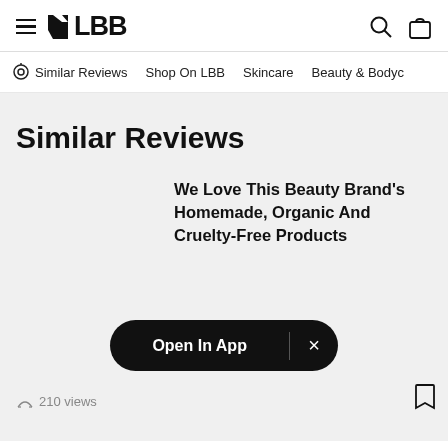LBB
Similar Reviews  Shop On LBB  Skincare  Beauty & Bodyc
Similar Reviews
We Love This Beauty Brand's Homemade, Organic And Cruelty-Free Products
Open In App
210 views